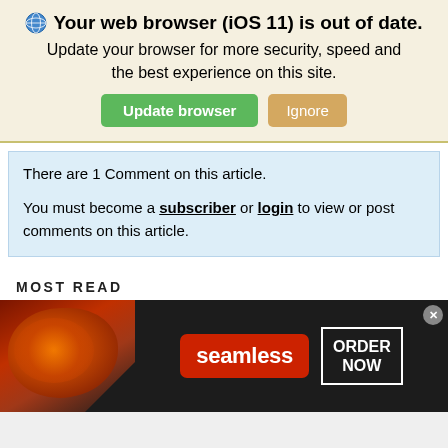🌐 Your web browser (iOS 11) is out of date. Update your browser for more security, speed and the best experience on this site.
Update browser | Ignore
There are 1 Comment on this article.
You must become a subscriber or login to view or post comments on this article.
MOST READ
1  Russian Tourist Reveals Location of Air
[Figure (screenshot): Seamless food delivery advertisement banner with pizza image on left, red Seamless logo button in center, and ORDER NOW button on right, on dark background]